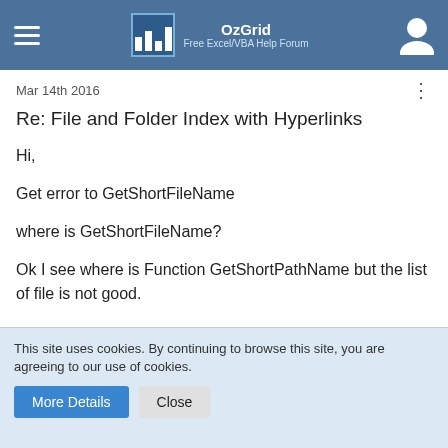OzGrid — Free Excel/VBA Help Forum
Mar 14th 2016
Re: File and Folder Index with Hyperlinks
Hi,

Get error to GetShortFileName

where is GetShortFileName?

Ok I see where is Function GetShortPathName but the list of file is not good.
This site uses cookies. By continuing to browse this site, you are agreeing to our use of cookies.